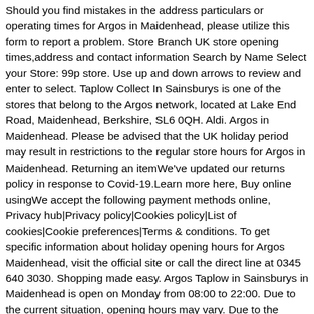Should you find mistakes in the address particulars or operating times for Argos in Maidenhead, please utilize this form to report a problem. Store Branch UK store opening times,address and contact information Search by Name Select your Store: 99p store. Use up and down arrows to review and enter to select. Taplow Collect In Sainsburys is one of the stores that belong to the Argos network, located at Lake End Road, Maidenhead, Berkshire, SL6 0QH. Aldi. Argos in Maidenhead. Please be advised that the UK holiday period may result in restrictions to the regular store hours for Argos in Maidenhead. Returning an itemWe've updated our returns policy in response to Covid-19.Learn more here, Buy online usingWe accept the following payment methods online, Privacy hub|Privacy policy|Cookies policy|List of cookies|Cookie preferences|Terms & conditions. To get specific information about holiday opening hours for Argos Maidenhead, visit the official site or call the direct line at 0345 640 3030. Shopping made easy. Argos Taplow in Sainsburys in Maidenhead is open on Monday from 08:00 to 22:00. Due to the current situation, opening hours may vary. Due to the current situation, opening hours may vary. In 2021 the aforementioned alterations are applicable to Xmas, Boxing Day, Easter Monday or Spring Bank Holiday. Opening hours. Argos Maidenhead opening times. Call: +443456564304. Store Branch UK store opening...